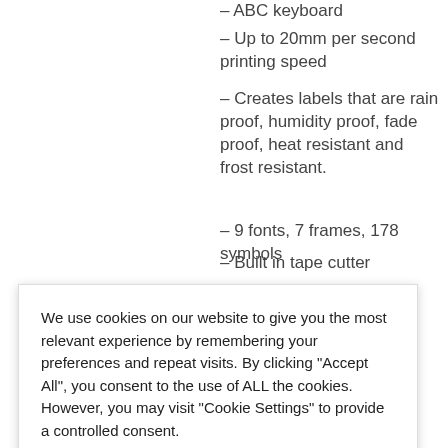– ABC keyboard
– Up to 20mm per second printing speed
– Creates labels that are rain proof, humidity proof, fade proof, heat resistant and frost resistant.
– 9 fonts, 7 frames, 178 symbols
– Built in tape cutter
12mm TZe
arranty
n black on
tape included
ries (not
plete garden
re for details
Brother
GLH105 & previous GL/PT Models
We use cookies on our website to give you the most relevant experience by remembering your preferences and repeat visits. By clicking "Accept All", you consent to the use of ALL the cookies. However, you may visit "Cookie Settings" to provide a controlled consent.
Cookie Settings
Accept All